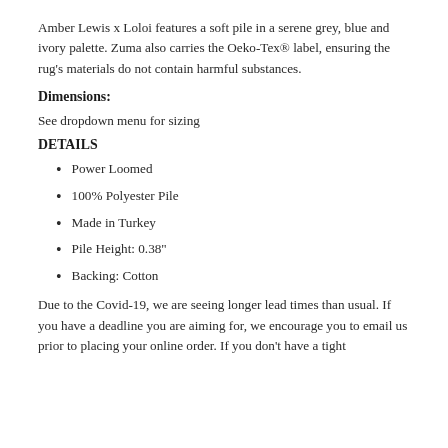Amber Lewis x Loloi features a soft pile in a serene grey, blue and ivory palette. Zuma also carries the Oeko-Tex® label, ensuring the rug's materials do not contain harmful substances.
Dimensions:
See dropdown menu for sizing
DETAILS
Power Loomed
100% Polyester Pile
Made in Turkey
Pile Height: 0.38"
Backing: Cotton
Due to the Covid-19, we are seeing longer lead times than usual. If you have a deadline you are aiming for, we encourage you to email us prior to placing your online order. If you don't have a tight